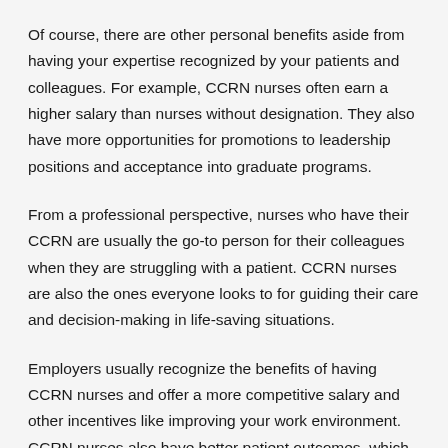Of course, there are other personal benefits aside from having your expertise recognized by your patients and colleagues. For example, CCRN nurses often earn a higher salary than nurses without designation. They also have more opportunities for promotions to leadership positions and acceptance into graduate programs.
From a professional perspective, nurses who have their CCRN are usually the go-to person for their colleagues when they are struggling with a patient. CCRN nurses are also the ones everyone looks to for guiding their care and decision-making in life-saving situations.
Employers usually recognize the benefits of having CCRN nurses and offer a more competitive salary and other incentives like improving your work environment. CCRN nurses also have better patient outcomes, which benefits your organization at large.
How Much Money and